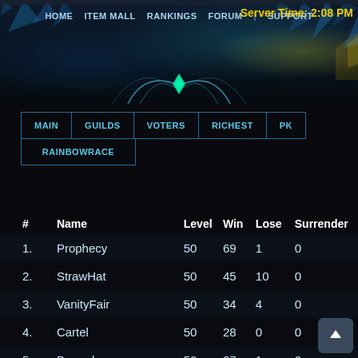HOME  ITEM MALL  RANKINGS  FORUM  SUPPORT
Server Time: 2:08 PM
| Tab row 1 | Tab row 2 |
| --- | --- |
| MAIN | GUILDS | VOTERS | RICHEST | PK |
| RAINBOWRACE |
| # | Name | Level | Win | Lose | Surrender |
| --- | --- | --- | --- | --- | --- |
| 1. | Prophecy | 50 | 69 | 1 | 0 |
| 2. | StrawHat | 50 | 45 | 10 | 0 |
| 3. | VanityFair | 50 | 34 | 4 | 0 |
| 4. | Cartel | 50 | 28 | 0 | 0 |
| 5. | Berserk | 50 | 27 | 1 | 0 |
| 6. | I n v i c t u s | 50 | 26 | 17 | 1 |